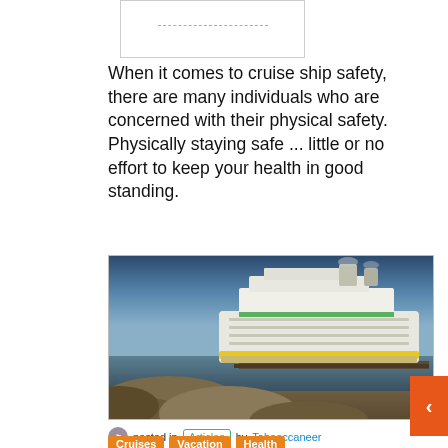[Figure (other): Small rectangular image placeholder with dashed line inside, top of page]
When it comes to cruise ship safety, there are many individuals who are concerned with their physical safety. Physically staying safe ... little or no effort to keep your health in good standing.
[Figure (photo): Large cruise ship docked at port, viewed from rocky shoreline, blue sky and water in background]
posted in Articles by Tabooccaneer
Cruises   Vacation   Health